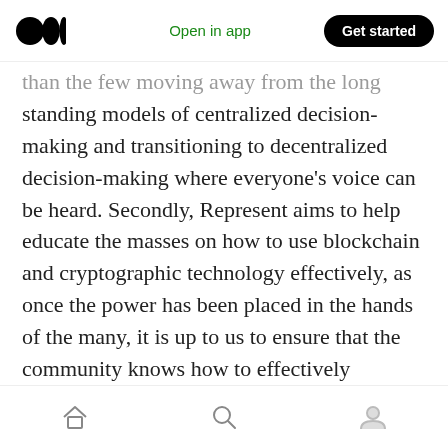Medium logo | Open in app | Get started
than the few moving away from the long standing models of centralized decision-making and transitioning to decentralized decision-making where everyone’s voice can be heard. Secondly, Represent aims to help educate the masses on how to use blockchain and cryptographic technology effectively, as once the power has been placed in the hands of the many, it is up to us to ensure that the community knows how to effectively implement crypto protocols into our daily lives.
About Get Set Play
Home | Search | Profile